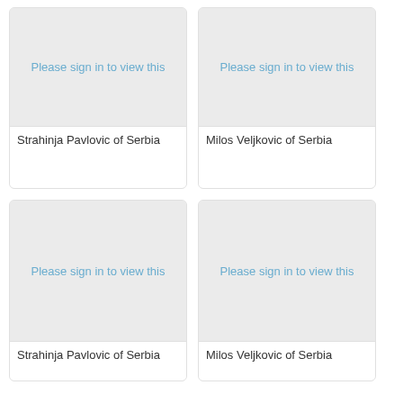[Figure (photo): Blurred/restricted player card image for Strahinja Pavlovic of Serbia with 'Please sign in to view this' overlay]
Strahinja Pavlovic of Serbia
[Figure (photo): Blurred/restricted player card image for Milos Veljkovic of Serbia with 'Please sign in to view this' overlay]
Milos Veljkovic of Serbia
[Figure (photo): Blurred/restricted player card image for Strahinja Pavlovic of Serbia with 'Please sign in to view this' overlay]
Strahinja Pavlovic of Serbia
[Figure (photo): Blurred/restricted player card image for Milos Veljkovic of Serbia with 'Please sign in to view this' overlay]
Milos Veljkovic of Serbia